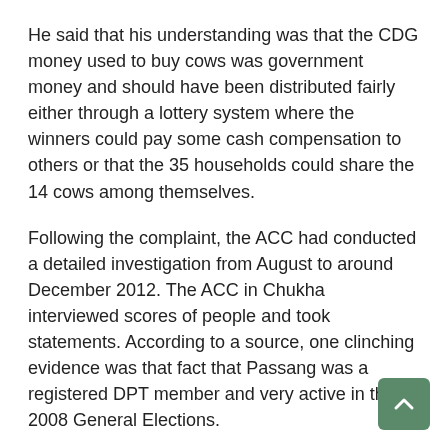He said that his understanding was that the CDG money used to buy cows was government money and should have been distributed fairly either through a lottery system where the winners could pay some cash compensation to others or that the 35 households could share the 14 cows among themselves.
Following the complaint, the ACC had conducted a detailed investigation from August to around December 2012. The ACC in Chukha interviewed scores of people and took statements. According to a source, one clinching evidence was that fact that Passang was a registered DPT member and very active in the 2008 General Elections.
There is already unhappiness among the 21 households that the OAG has not found any legal basis and has sent the case back to ACC. Two of their representatives will be arriving from Chukha to Thimphu to meet ACC to enquire about the case.
According to a source, what ACC would do is that after reviewing the case they would discuss it in the Commission.